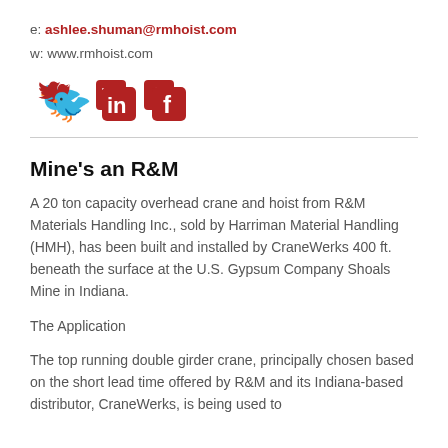e: ashlee.shuman@rmhoist.com
w: www.rmhoist.com
[Figure (other): Social media icons: Twitter (bird), LinkedIn (in), Facebook (f) in dark red]
Mine's an R&M
A 20 ton capacity overhead crane and hoist from R&M Materials Handling Inc., sold by Harriman Material Handling (HMH), has been built and installed by CraneWerks 400 ft. beneath the surface at the U.S. Gypsum Company Shoals Mine in Indiana.
The Application
The top running double girder crane, principally chosen based on the short lead time offered by R&M and its Indiana-based distributor, CraneWerks, is being used to